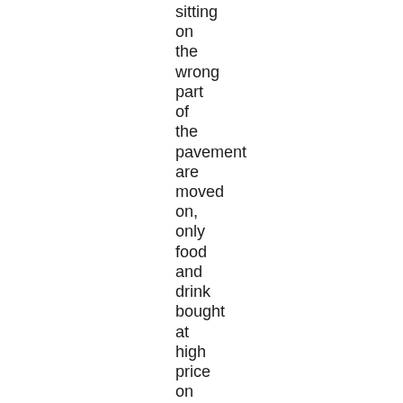sitting on the wrong part of the pavement are moved on, only food and drink bought at high price on the premises is allowed to be consumed